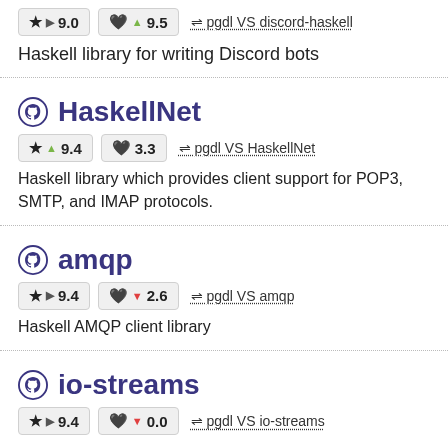★ ▶ 9.0  🖤▲9.5  ⇌ pgdl VS discord-haskell
Haskell library for writing Discord bots
HaskellNet
★ ▲ 9.4  🖤 3.3  ⇌ pgdl VS HaskellNet
Haskell library which provides client support for POP3, SMTP, and IMAP protocols.
amqp
★ ▶ 9.4  🖤▼2.6  ⇌ pgdl VS amqp
Haskell AMQP client library
io-streams
★ ▶ 9.4  🖤▼0.0  ⇌ pgdl VS io-streams